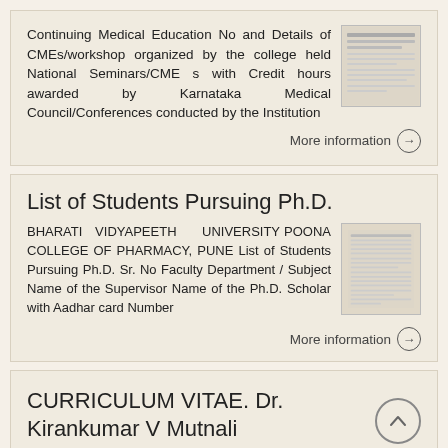Continuing Medical Education No and Details of CMEs/workshop organized by the college held National Seminars/CME s with Credit hours awarded by Karnataka Medical Council/Conferences conducted by the Institution
More information →
List of Students Pursuing Ph.D.
BHARATI VIDYAPEETH UNIVERSITY POONA COLLEGE OF PHARMACY, PUNE List of Students Pursuing Ph.D. Sr. No Faculty Department / Subject Name of the Supervisor Name of the Ph.D. Scholar with Aadhar card Number
More information →
CURRICULUM VITAE. Dr. Kirankumar V Mutnali